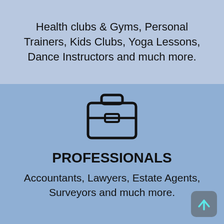Health clubs & Gyms, Personal Trainers, Kids Clubs, Yoga Lessons, Dance Instructors and much more.
[Figure (illustration): Briefcase icon — a simple line-art briefcase with a handle on top and a rectangular clasp in the center]
PROFESSIONALS
Accountants, Lawyers, Estate Agents, Surveyors and much more.